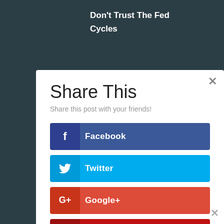Don't Trust The Fed
Cycles
Share This
Share this post with your friends!
Facebook
Twitter
Google+
Pinterest
LinkedIn
StumbleUpon